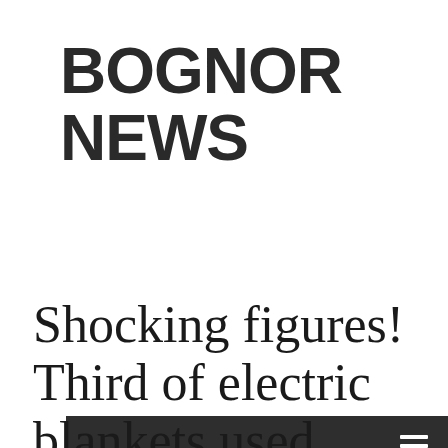BOGNOR NEWS
[Figure (other): Navigation bar with dark background and hamburger menu icon on the right]
Shocking figures! Third of electric blankets used likely to be unsafe, it has